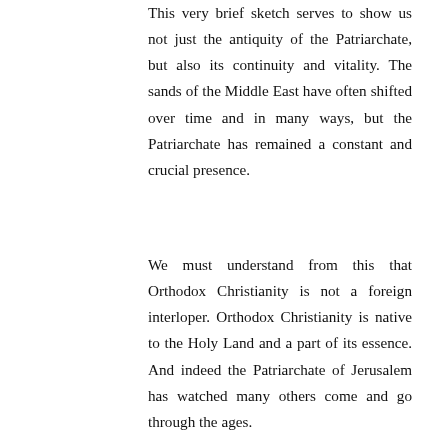This very brief sketch serves to show us not just the antiquity of the Patriarchate, but also its continuity and vitality. The sands of the Middle East have often shifted over time and in many ways, but the Patriarchate has remained a constant and crucial presence.
We must understand from this that Orthodox Christianity is not a foreign interloper. Orthodox Christianity is native to the Holy Land and a part of its essence. And indeed the Patriarchate of Jerusalem has watched many others come and go through the ages.